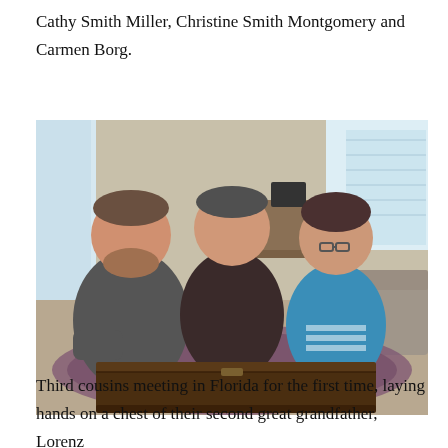Cathy Smith Miller, Christine Smith Montgomery and Carmen Borg.
[Figure (photo): Three people standing behind a large dark wooden chest in a living room. Two men and one woman, smiling at the camera. The woman on the right is wearing a blue top. The room has carpet, windows, and furniture visible in the background.]
Third cousins meeting in Florida for the first time, laying hands on a chest of their second great grandfather, Lorenz